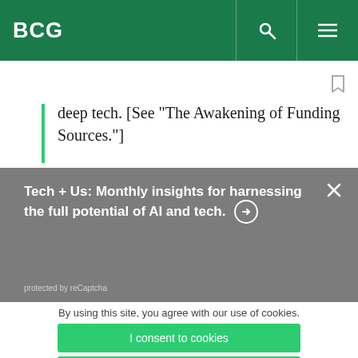BCG
deep tech. [See “The Awakening of Funding Sources.”]
Tech + Us: Monthly insights for harnessing the full potential of AI and tech. →
protected by reCaptcha
By using this site, you agree with our use of cookies.
I consent to cookies
Want to know more?
Read our Cookie Policy